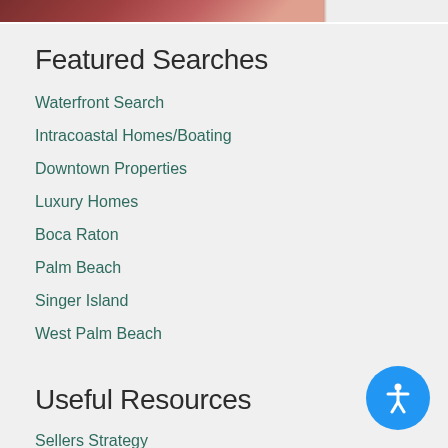[Figure (photo): Partial view of a room interior with dark red/maroon tones, cropped at top of page]
Featured Searches
Waterfront Search
Intracoastal Homes/Boating
Downtown Properties
Luxury Homes
Boca Raton
Palm Beach
Singer Island
West Palm Beach
Useful Resources
Sellers Strategy